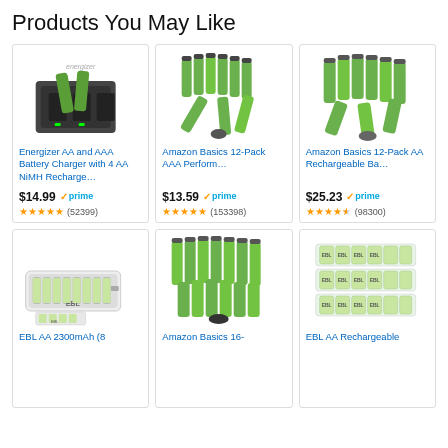Products You May Like
[Figure (photo): Energizer AA and AAA Battery Charger with 4 AA NiMH batteries]
Energizer AA and AAA Battery Charger with 4 AA NiMH Recharge…
$14.99 ✓prime
★★★★★ (52399)
[Figure (photo): Amazon Basics 12-Pack AAA rechargeable batteries (green)]
Amazon Basics 12-Pack AAA Perform…
$13.59 ✓prime
★★★★★ (153398)
[Figure (photo): Amazon Basics 12-Pack AA rechargeable batteries (green)]
Amazon Basics 12-Pack AA Rechargeable Ba…
$25.23 ✓prime
★★★★½ (98300)
[Figure (photo): EBL AA 2300mAh 8-bay battery charger with batteries]
EBL AA 2300mAh (8
[Figure (photo): Amazon Basics 16-pack AA rechargeable batteries (green)]
Amazon Basics 16-
[Figure (photo): EBL AA Rechargeable batteries in packaging]
EBL AA Rechargeable